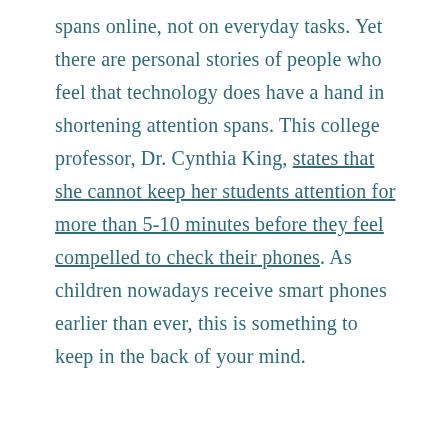spans online, not on everyday tasks. Yet there are personal stories of people who feel that technology does have a hand in shortening attention spans. This college professor, Dr. Cynthia King, states that she cannot keep her students attention for more than 5-10 minutes before they feel compelled to check their phones. As children nowadays receive smart phones earlier than ever, this is something to keep in the back of your mind.